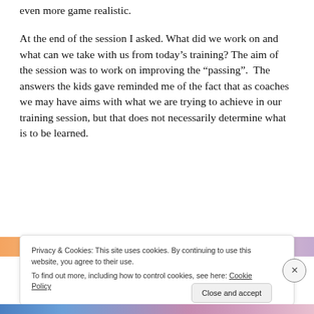even more game realistic.
At the end of the session I asked. What did we work on and what can we take with us from today's training? The aim of the session was to work on improving the “passing”.  The answers the kids gave reminded me of the fact that as coaches we may have aims with what we are trying to achieve in our training session, but that does not necessarily determine what is to be learned.
[Figure (photo): Partial image strip visible at the bottom of the article content area, showing a colorful banner or social media sharing bar.]
Privacy & Cookies: This site uses cookies. By continuing to use this website, you agree to their use.
To find out more, including how to control cookies, see here: Cookie Policy
Close and accept